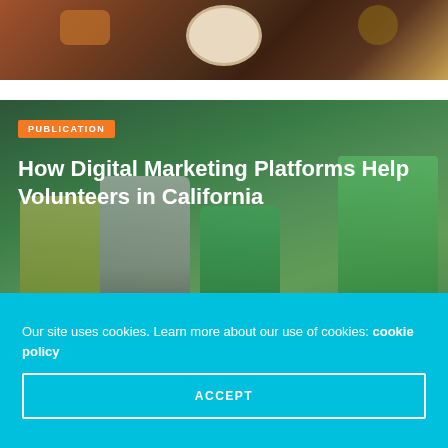[Figure (photo): Top portion of a photo showing people eating food at a table, food plates visible, cropped]
[Figure (photo): Volunteers in green vests and t-shirts picking up litter with green garbage bags outdoors]
PUBLICATION
How Digital Marketing Platforms Help Volunteers in California
Our site uses cookies. Learn more about our use of cookies: cookie policy
ACCEPT